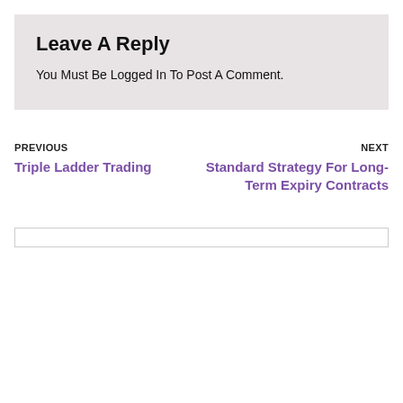Leave A Reply
You Must Be Logged In To Post A Comment.
PREVIOUS
Triple Ladder Trading
NEXT
Standard Strategy For Long-Term Expiry Contracts